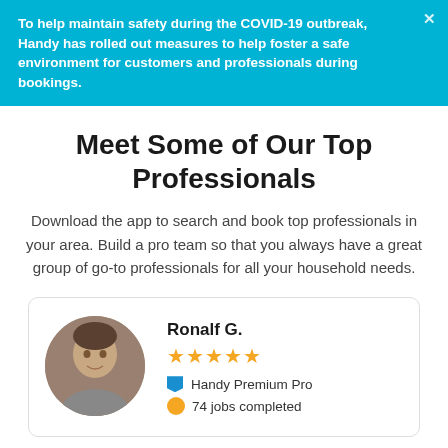To help maintain safety during the COVID-19 outbreak, Handy has rolled out measures to help foster a safe environment for customers and professionals during bookings.
Meet Some of Our Top Professionals
Download the app to search and book top professionals in your area. Build a pro team so that you always have a great group of go-to professionals for all your household needs.
[Figure (photo): Profile card for Ronalf G. with circular avatar photo, 5 gold stars, Handy Premium Pro badge, 74 jobs completed]
Ronalf G.
Handy Premium Pro
74 jobs completed